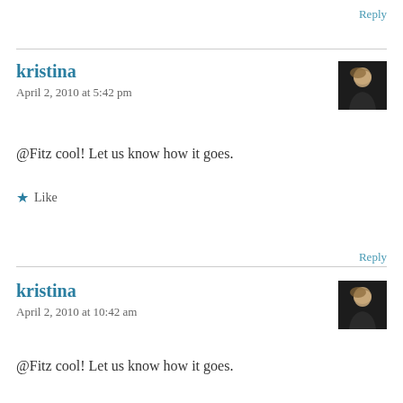Reply
kristina
April 2, 2010 at 5:42 pm
[Figure (photo): Avatar photo of kristina - person with light hair against dark background]
@Fitz cool! Let us know how it goes.
Like
Reply
kristina
April 2, 2010 at 10:42 am
[Figure (photo): Avatar photo of kristina - person with light hair against dark background]
@Fitz cool! Let us know how it goes.